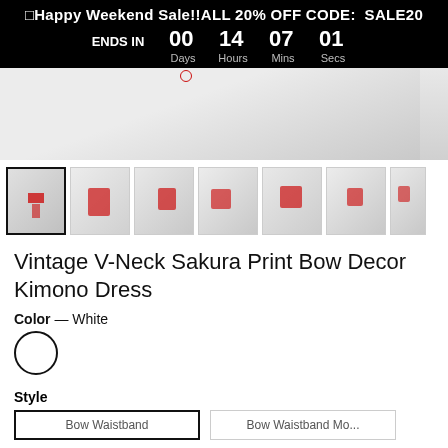🔲Happy Weekend Sale!!ALL 20% OFF CODE: SALE20 ENDS IN  00  14  07  01  Days Hours Mins Secs
[Figure (photo): Main product image of white kimono dress with red accents shown on model, partially cropped]
[Figure (photo): Row of 7 thumbnail images showing the Vintage V-Neck Sakura Print Bow Decor Kimono Dress from different angles; first thumbnail is selected with black border]
Vintage V-Neck Sakura Print Bow Decor Kimono Dress
Color — White
[Figure (other): White circular color swatch with black border indicating selected color White]
Style
Bow Waistband    Bow Waistband Mo...